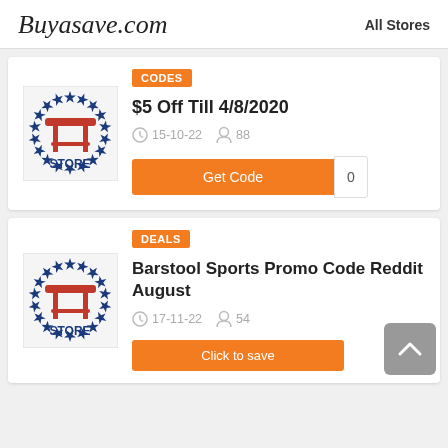Buyasave.com  All Stores
[Figure (logo): Barstool Store logo with red stool and star ring]
CODES
$5 Off Till 4/8/2020
15-10-22  88
Get Code  0
[Figure (logo): Barstool Store logo with red stool and star ring]
DEALS
Barstool Sports Promo Code Reddit August
17-11-22  54
Click to save